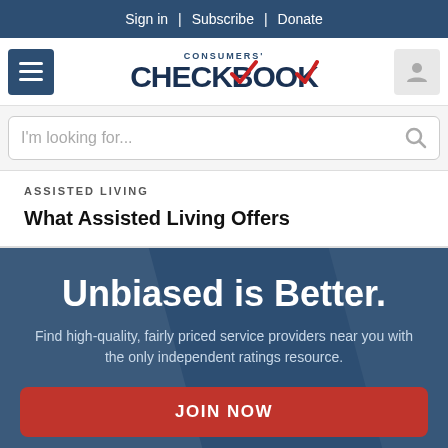Sign in | Subscribe | Donate
[Figure (logo): Consumers' Checkbook logo with hamburger menu and user icon]
I'm looking for...
ASSISTED LIVING
What Assisted Living Offers
Unbiased is Better.
Find high-quality, fairly priced service providers near you with the only independent ratings resource.
JOIN NOW
NO THANKS, MAYBE LATER.